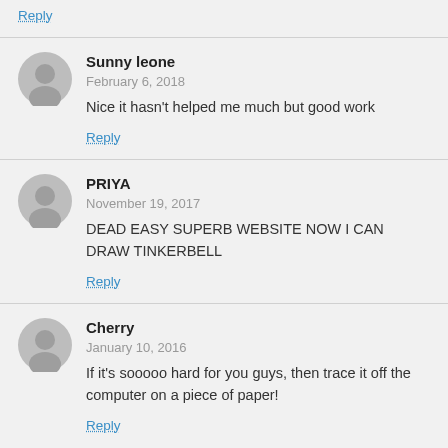Reply
Sunny leone
February 6, 2018
Nice it hasn't helped me much but good work
Reply
PRIYA
November 19, 2017
DEAD EASY SUPERB WEBSITE NOW I CAN DRAW TINKERBELL
Reply
Cherry
January 10, 2016
If it's sooooo hard for you guys, then trace it off the computer on a piece of paper!
Reply